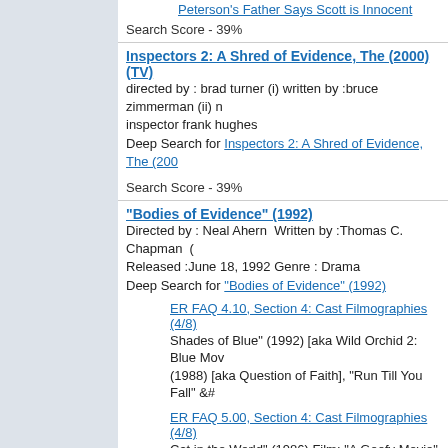Peterson's Father Says Scott is Innocent
Search Score - 39%
Inspectors 2: A Shred of Evidence, The (2000) (TV)
directed by : brad turner (i) written by :bruce zimmerman (ii) n inspector frank hughes
Deep Search for Inspectors 2: A Shred of Evidence, The (200
Search Score - 39%
"Bodies of Evidence" (1992)
Directed by : Neal Ahern  Written by :Thomas C. Chapman  ( Released :June 18, 1992 Genre : Drama
Deep Search for "Bodies of Evidence" (1992)
ER FAQ 4.10, Section 4: Cast Filmographies (4/8)
Shades of Blue" (1992) [aka Wild Orchid 2: Blue Mov (1988) [aka Question of Faith], "Run Till You Fall" &#
ER FAQ 5.00, Section 4: Cast Filmographies (4/8)
Cat in the World" (1986) Film: "A Goofy Movie" (1995 *"Fatal Exposure" (1991), *&q;
ER FAQ 5.00, Section 4: Cast Filmographies (4/8)
of Blue" (1992) [aka Wild Orchid 2: Blue Movie Blue], "Spencer" (1984), "Cheers" (1982), "Se
Denise Richards > Celebrity Profiles > Movie Mania
- ... Cindy; Valentine (2001) .... Paige Prescott; 2000 Bodies of Evidence" (1992) playing "Jennifer Ivey"&#